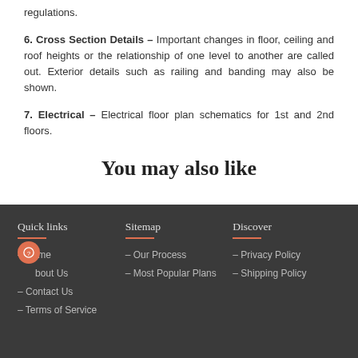regulations.
6. Cross Section Details – Important changes in floor, ceiling and roof heights or the relationship of one level to another are called out. Exterior details such as railing and banding may also be shown.
7. Electrical – Electrical floor plan schematics for 1st and 2nd floors.
You may also like
Quick links | Sitemap | Discover | – Home | – About Us | – Contact Us | – Terms of Service | – Our Process | – Most Popular Plans | – Privacy Policy | – Shipping Policy